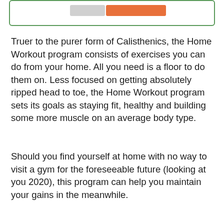[Figure (other): Partial UI card with a green border, containing a grey tab and an orange button element at the top of the page]
Truer to the purer form of Calisthenics, the Home Workout program consists of exercises you can do from your home. All you need is a floor to do them on. Less focused on getting absolutely ripped head to toe, the Home Workout program sets its goals as staying fit, healthy and building some more muscle on an average body type.
Should you find yourself at home with no way to visit a gym for the foreseeable future (looking at you 2020), this program can help you maintain your gains in the meanwhile.